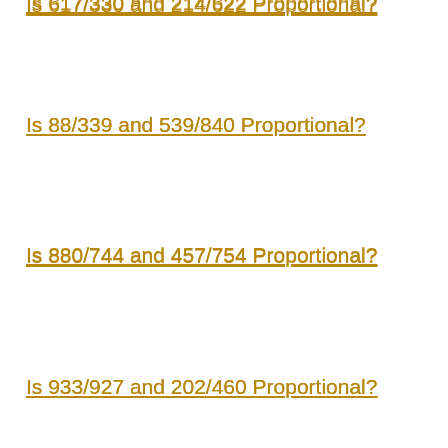Is 617/330 and 214/622 Proportional?
Is 88/339 and 539/840 Proportional?
Is 880/744 and 457/754 Proportional?
Is 933/927 and 202/460 Proportional?
Is 430/742 and 443/427 Proportional?
Is 774/949 and 603/691 Proportional?
Is 420/767 and 703/597 Proportional?
Is 810/811 and 351/985 Proportional?
Is 357/426 and 928/248 Proportional?